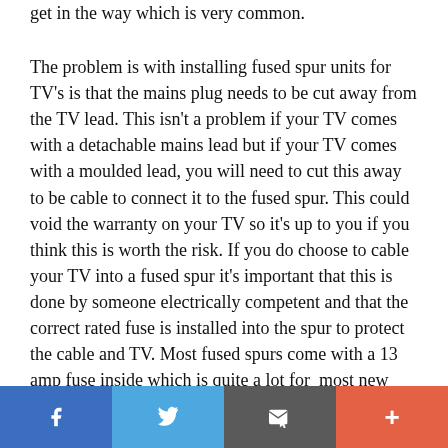get in the way which is very common.
The problem is with installing fused spur units for TV's is that the mains plug needs to be cut away from the TV lead. This isn't a problem if your TV comes with a detachable mains lead but if your TV comes with a moulded lead, you will need to cut this away to be cable to connect it to the fused spur. This could void the warranty on your TV so it's up to you if you think this is worth the risk. If you do choose to cable your TV into a fused spur it's important that this is done by someone electrically competent and that the correct rated fuse is installed into the spur to protect the cable and TV. Most fused spurs come with a 13 amp fuse inside which is quite a lot for  most new TV's. I recommend removing the fuse from the TV plug and inserting this into the fused spur. A small flat headed screwdriver will enable
[Figure (other): Social share bar with four buttons: Facebook (blue), Twitter (light blue), Email/message (dark gray), and Plus/more (orange-red)]